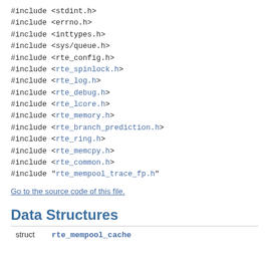#include <stdint.h>
#include <errno.h>
#include <inttypes.h>
#include <sys/queue.h>
#include <rte_config.h>
#include <rte_spinlock.h>
#include <rte_log.h>
#include <rte_debug.h>
#include <rte_lcore.h>
#include <rte_memory.h>
#include <rte_branch_prediction.h>
#include <rte_ring.h>
#include <rte_memcpy.h>
#include <rte_common.h>
#include "rte_mempool_trace_fp.h"
Go to the source code of this file.
Data Structures
|  |  |
| --- | --- |
| struct | rte_mempool_cache |